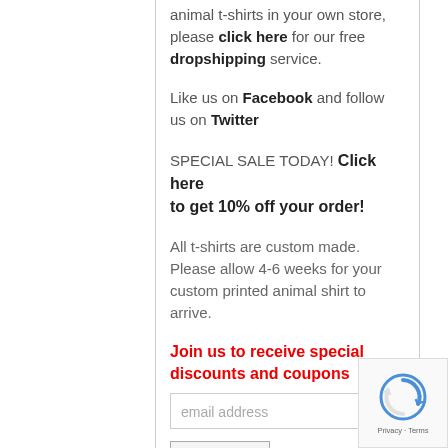animal t-shirts in your own store, please click here for our free dropshipping service.
Like us on Facebook and follow us on Twitter
SPECIAL SALE TODAY!  Click here to get 10% off your order!
All t-shirts are custom made. Please allow 4-6 weeks for your custom printed animal shirt to arrive.
Join us to receive special discounts and coupons
email address
Subscribe